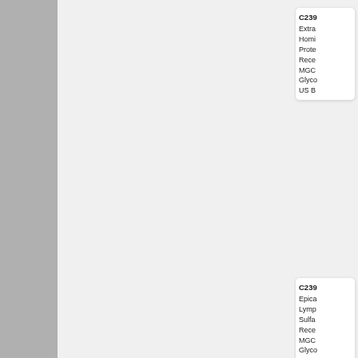C239
Extra
Homi
Prote
Rece
MGC
Glyco
US B
C239
Epica
Lymp
Sulfa
Rece
MGC
Glyco
US B
C239
Extra
Homi
Prote
Rece
MGC
Glyco
US B
C239